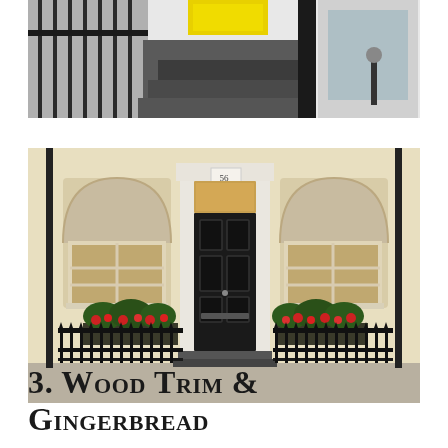[Figure (photo): Partial view of a building entrance with black iron railings, tiled steps, and yellow signage visible at top, cropped to show bottom portion only.]
[Figure (photo): Facade of a Georgian-style cream/beige building numbered 56, featuring a black front door with white pilastered surround, arched sash windows on either side with wooden shutters, black iron railings, and flower boxes with red and green flowers/shrubs.]
3. Wood Trim & Gingerbread